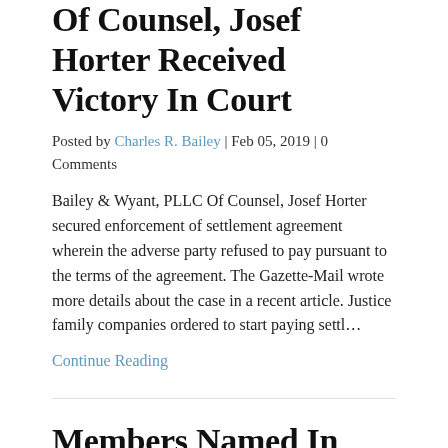Of Counsel, Josef Horter Received Victory In Court
Posted by Charles R. Bailey | Feb 05, 2019 | 0 Comments
Bailey & Wyant, PLLC Of Counsel, Josef Horter secured enforcement of settlement agreement wherein the adverse party refused to pay pursuant to the terms of the agreement. The Gazette-Mail wrote more details about the case in a recent article. Justice family companies ordered to start paying settl…
Continue Reading
Members Named In America's Top 100